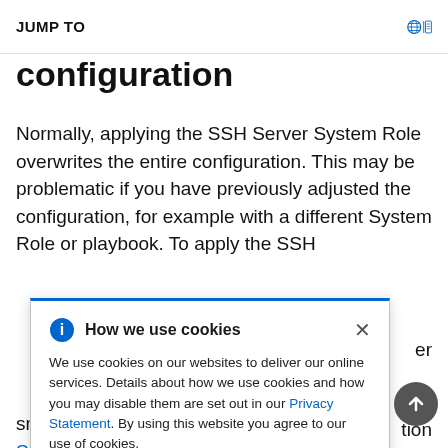JUMP TO
configuration
Normally, applying the SSH Server System Role overwrites the entire configuration. This may be problematic if you have previously adjusted the configuration, for example with a different System Role or playbook. To apply the SSH
How we use cookies
We use cookies on our websites to deliver our online services. Details about how we use cookies and how you may disable them are set out in our Privacy Statement. By using this website you agree to our use of cookies.
er options
e non-
tion
snippet. For more information, see Using the SSH